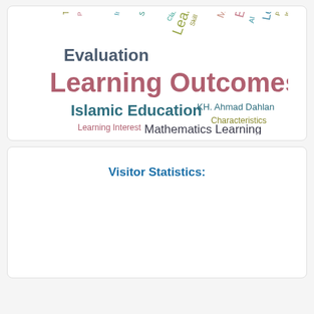[Figure (infographic): Word cloud with education-related terms: Learning Outcomes (large, mauve), Islamic Education (large, dark teal), Evaluation (large, dark blue-gray), Mathematics Learning (medium, dark gray), KH. Ahmad Dahlan (medium, dark teal), Learning Interest (medium, rose), Characteristics (medium, olive/gold), Teacher (small, olive, vertical), Punishment (small, rose, vertical), Inclusion (small, teal, vertical), Strategy (small, teal, diagonal), Class (small, teal), Skill (small, olive), Mathematics (small, rose, diagonal), Learning (medium, olive, diagonal), Education (medium, rose, partial), Leadership (medium, teal, partial), AI (small, teal), Implementation (small, olive, vertical), Phonology (small, olive, vertical)]
Visitor Statistics: